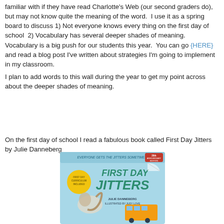familiar with if they have read Charlotte's Web (our second graders do), but may not know quite the meaning of the word.  I use it as a spring board to discuss 1) Not everyone knows every thing on the first day of school  2) Vocabulary has several deeper shades of meaning.   Vocabulary is a big push for our students this year.  You can go {HERE} and read a blog post I've written about strategies I'm going to implement in my classroom.
I plan to add words to this wall during the year to get my point across about the deeper shades of meaning.
On the first day of school I read a fabulous book called First Day Jitters by Julie Danneberg
[Figure (photo): Book cover of 'First Day Jitters' by Julie Danneberg, illustrated by Judy Love. 20th Anniversary Edition. Light blue background with a cartoon squirrel sliding on ice and a school bus illustration. Yellow badge reads 'First Day Curriculum Included'. Top text: 'Everyone gets the jitters sometimes.']